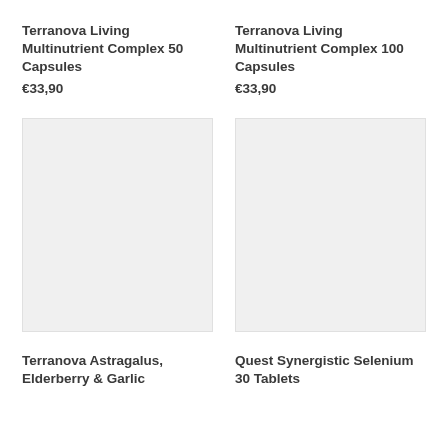Terranova Living Multinutrient Complex 50 Capsules
€33,90
Terranova Living Multinutrient Complex 100 Capsules
€33,90
[Figure (photo): Product image placeholder – light grey square]
[Figure (photo): Product image placeholder – light grey square]
Terranova Astragalus, Elderberry & Garlic
Quest Synergistic Selenium 30 Tablets